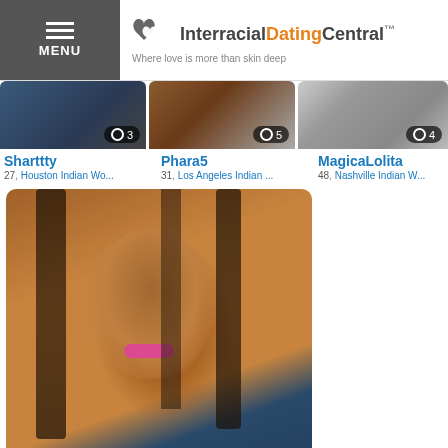InterracialDatingCentral — Where love is more than skin deep
[Figure (photo): Partial photo of Sharttty, top cropped]
[Figure (photo): Partial photo of Phara5, top cropped]
[Figure (photo): Partial photo of MagicaLolita, top cropped]
Sharttty
27, Houston Indian Wo...
Phara5
31, Los Angeles Indian ...
MagicaLolita
48, Nashville Indian W...
[Figure (photo): Profile photo of Inekela, woman with braids and pink lipstick]
Inekela
25, Windhoek Indian ...
Load More